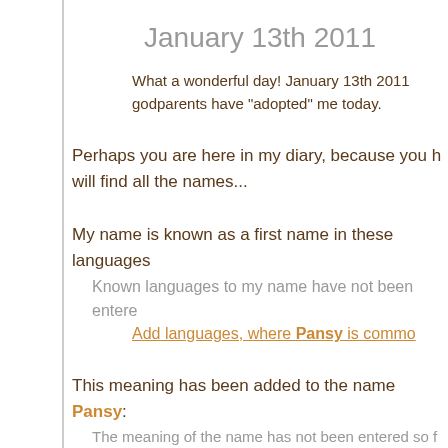January 13th 2011
What a wonderful day! January 13th 2011 ... godparents have "adopted" me today.
Perhaps you are here in my diary, because you h... will find all the names...
My name is known as a first name in these languages...
Known languages to my name have not been entere...
Add languages, where Pansy is commo...
This meaning has been added to the name Pansy:
The meaning of the name has not been entered so f...
Add a meaning to the name of Pans...